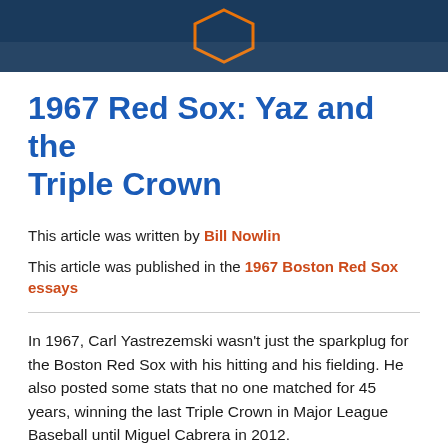[Figure (illustration): Dark navy blue header banner with a hexagonal logo/badge at the top center with an orange border]
1967 Red Sox: Yaz and the Triple Crown
This article was written by Bill Nowlin
This article was published in the 1967 Boston Red Sox essays
In 1967, Carl Yastrezemski wasn't just the sparkplug for the Boston Red Sox with his hitting and his fielding. He also posted some stats that no one matched for 45 years, winning the last Triple Crown in Major League Baseball until Miguel Cabrera in 2012.